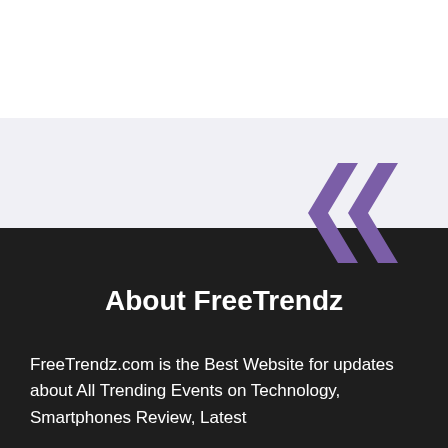[Figure (logo): Two purple double left-chevron angle bracket marks (quotation chevrons) forming a logo, shown partially in the upper-right area spanning the light and dark background sections.]
About FreeTrendz
FreeTrendz.com is the Best Website for updates about All Trending Events on Technology, Smartphones Review, Latest